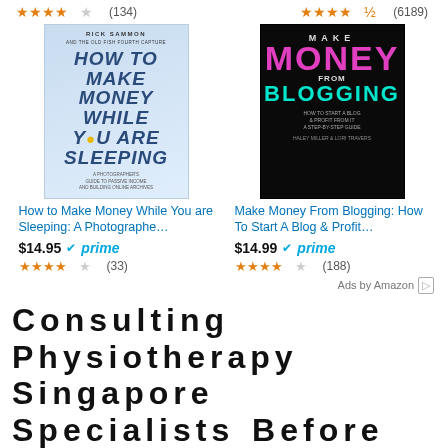★★★★☆ (134)   ★★★★☆ (6189)
[Figure (photo): Book cover: How to Make Money While You are Sleeping by Rick Sammon — blue illustrated cover]
[Figure (photo): Book cover: Make Money From Blogging: How To Start A Blog & Profit — black cover with pink and teal text]
How to Make Money While You are Sleeping: A Photographe…
Make Money From Blogging: How To Start A Blog & Profit…
$14.95 ✔prime
$14.99 ✔prime
★★★★☆ (33)
★★★★☆ (188)
Ads by Amazon ▷
Consulting Physiotherapy Singapore Specialists Before Injury
N Tweet   A Pin   f Share   < 0 SHARES